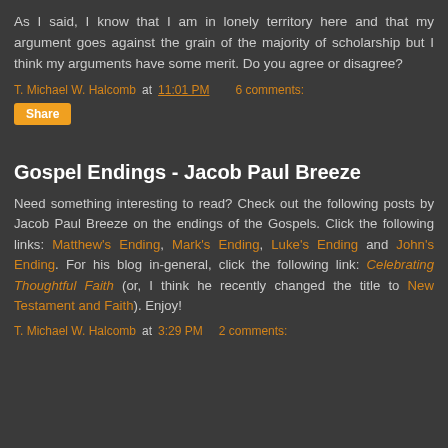As I said, I know that I am in lonely territory here and that my argument goes against the grain of the majority of scholarship but I think my arguments have some merit. Do you agree or disagree?
T. Michael W. Halcomb at 11:01 PM    6 comments:
Share
Gospel Endings - Jacob Paul Breeze
Need something interesting to read? Check out the following posts by Jacob Paul Breeze on the endings of the Gospels. Click the following links: Matthew's Ending, Mark's Ending, Luke's Ending and John's Ending. For his blog in-general, click the following link: Celebrating Thoughtful Faith (or, I think he recently changed the title to New Testament and Faith). Enjoy!
T. Michael W. Halcomb at 3:29 PM    2 comments: